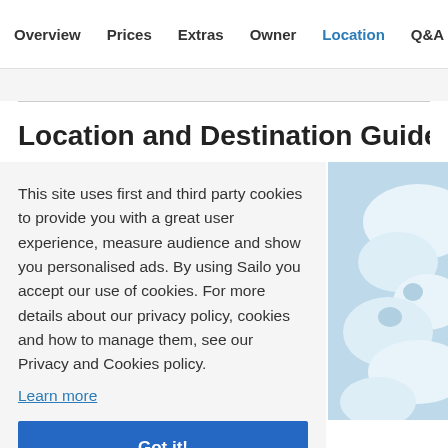Overview  Prices  Extras  Owner  Location  Q&A  Policies
Location and Destination Guide
This site uses first and third party cookies to provide you with a great user experience, measure audience and show you personalised ads. By using Sailo you accept our use of cookies. For more details about our privacy policy, cookies and how to manage them, see our Privacy and Cookies policy.
Learn more
Got it!
[Figure (map): Partial map thumbnail visible on the right side of the page showing a light blue and white illustrated map.]